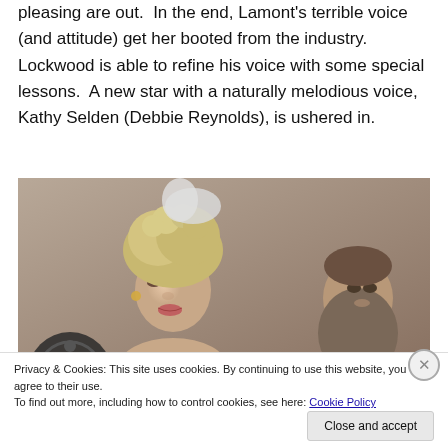Those who can't adapt their voices to sound more pleasing are out.  In the end, Lamont's terrible voice (and attitude) get her booted from the industry.  Lockwood is able to refine his voice with some special lessons.  A new star with a naturally melodious voice, Kathy Selden (Debbie Reynolds), is ushered in.
[Figure (photo): Film still showing a woman with an elaborate curled blonde updo hairstyle and feathered headpiece, wearing period costume, mouth slightly open as if singing or speaking. A man is partially visible in the background right. A film reel is partially visible at the bottom left.]
Privacy & Cookies: This site uses cookies. By continuing to use this website, you agree to their use.
To find out more, including how to control cookies, see here: Cookie Policy
Close and accept